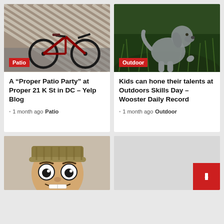[Figure (photo): Bicycle parked against a striped wall on paving stones, with a red Patio category tag overlay]
[Figure (photo): Gray Weimaraner dog sitting in green grass/foliage, with a red Outdoor category tag overlay]
A “Proper Patio Party” at Proper 21 K St in DC – Yelp Blog
1 month ago  Patio
Kids can hone their talents at Outdoors Skills Day – Wooster Daily Record
1 month ago  Outdoor
[Figure (illustration): Cartoon face with big eyes and a beanie hat]
[Figure (other): Gray placeholder card with a red bookmark/flag button at bottom right]